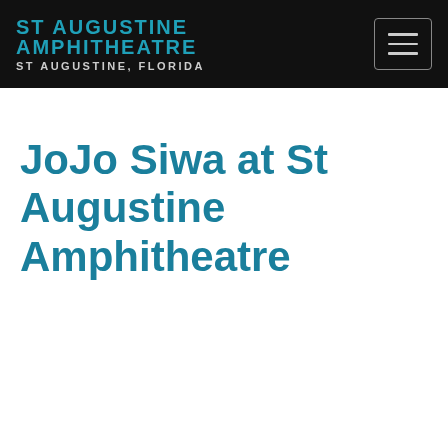ST AUGUSTINE AMPHITHEATRE ST AUGUSTINE, FLORIDA
JoJo Siwa at St Augustine Amphitheatre